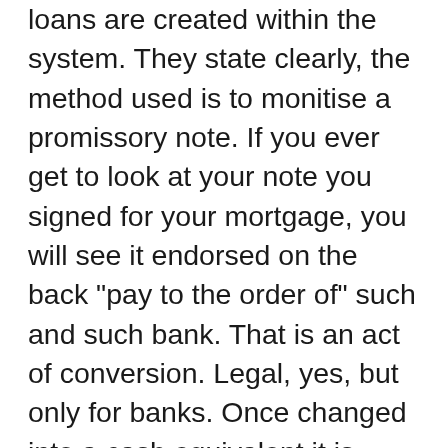loans are created within the system. They state clearly, the method used is to monitise a promissory note. If you ever get to look at your note you signed for your mortgage, you will see it endorsed on the back "pay to the order of" such and such bank. That is an act of conversion. Legal, yes, but only for banks. Once changed into a cash equivalent it is deposited into a demand deposit account at the bank. It appears as cash on the books, therefore it is a liability of the bank like any other cash deposit. The fed has stated it must be paid back on demand of the depositor. The bank creates the book entry "demand deposit" as a cash asset on their books. This they refer